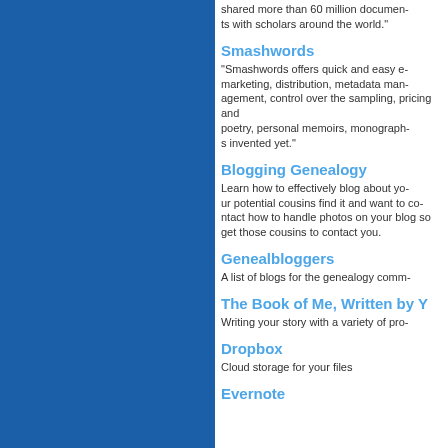shared more than 60 million documents with scholars around the world."
Smashwords
"Smashwords offers quick and easy e-marketing, distribution, metadata management, control over the sampling, pricing and poetry, personal memoirs, monographs invented yet."
Blogging Genealogy
Learn how to effectively blog about your potential cousins find it and want to contact how to handle photos on your blog so get those cousins to contact you.
Genealbloggers
A list of blogs for the genealogy community.
The Book of Me, Written by You
Writing your story with a variety of prompts.
Dropbox
Cloud storage for your files
Evernote